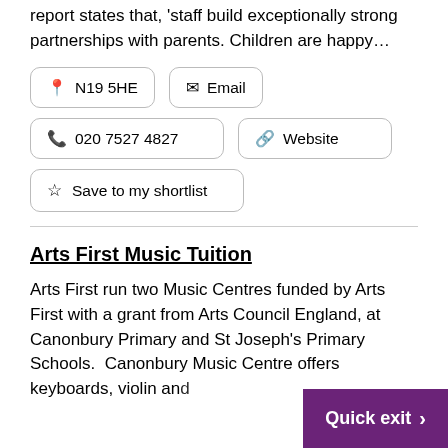report states that, 'staff build exceptionally strong partnerships with parents. Children are happy…'
N19 5HE
Email
020 7527 4827
Website
Save to my shortlist
Arts First Music Tuition
Arts First run two Music Centres funded by Arts First with a grant from Arts Council England, at Canonbury Primary and St Joseph's Primary Schools.  Canonbury Music Centre offers keyboards, violin and… guitar, in instrumental tuition. Teachers of…